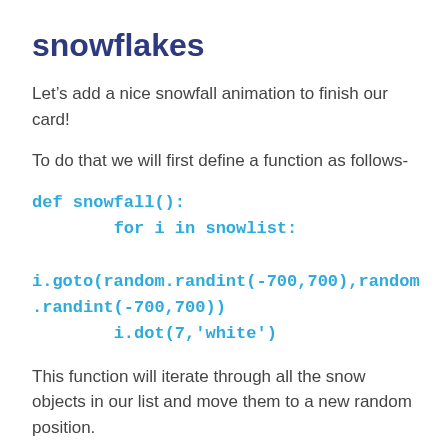snowflakes
Let's add a nice snowfall animation to finish our card!
To do that we will first define a function as follows-
def snowfall():
        for i in snowlist:

i.goto(random.randint(-700,700),random.randint(-700,700))
        i.dot(7,'white')
This function will iterate through all the snow objects in our list and move them to a new random position.